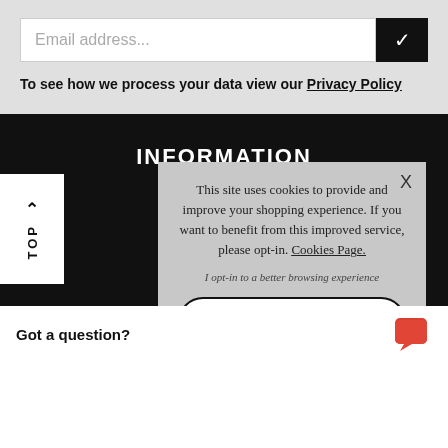[Figure (screenshot): Email address input field with black checkmark button on the right]
To see how we process your data view our Privacy Policy
INFORMATION
New Arrivals
This site uses cookies to provide and improve your shopping experience. If you want to benefit from this improved service, please opt-in. Cookies Page.
I opt-in to a better browsing experience
ACCEPT COOKIES
Got a question?
Service